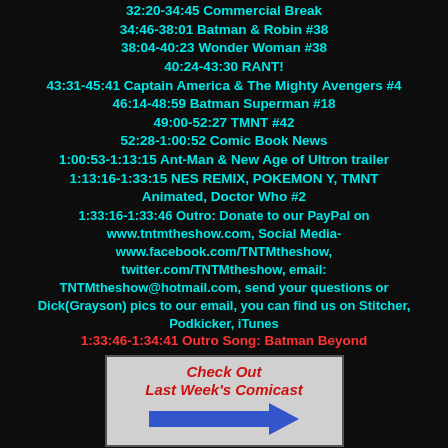32:20-34:45 Commercial Break
34:46-38:01 Batman & Robin #38
38:04-40:23 Wonder Woman #38
40:24-43:30 RANT!
43:31-45:41 Captain America & The Mighty Avengers #4
46:14-48:59 Batman Superman #18
49:00-52:27 TMNT #42
52:28-1:00:52 Comic Book News
1:00:53-1:13:15 Ant-Man & New Age of Ultron trailer
1:13:16-1:33:15 NES REMIX, POKEMON Y, TMNT Animated, Doctor Who #2
1:33:16-1:33:46 Outro: Donate to our PayPal on www.tntmtheshow.com, Social Media- www.facebook.com/TNTMtheshow, twitter.com/TNTMtheshow, email: TNTMtheshow@hotmail.com, send your questions or Dick(Grayson) pics to our email, you can find us on Stitcher, Podkicker, iTunes
1:33:46-1:34:41 Outro Song: Batman Beyond
[Figure (infographic): Banner with red bold italic text 'Check Out Last Week's Comicast' with a blue arrow pointing right, on a light gray background with dark border]
You can pick up these comics at Age Of Comics or Twin Suns Comics & Games